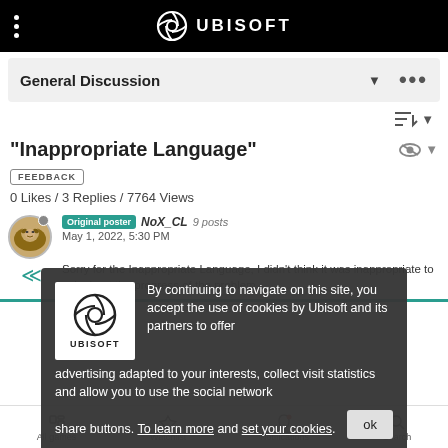UBISOFT
General Discussion
"Inappropriate Language"
FEEDBACK
0 Likes / 3 Replies / 7764 Views
Original poster  NoX_CL  9 posts
May 1, 2022, 5:30 PM
Sorry for the Inappropriate Language, I didn't think it was inappropriate to ask about the progress of the problem.
By continuing to navigate on this site, you accept the use of cookies by Ubisoft and its partners to offer advertising adapted to your interests, collect visit statistics and allow you to use the social network share buttons. To learn more and set your cookies.
All games  Watchlist  Notifications  Search